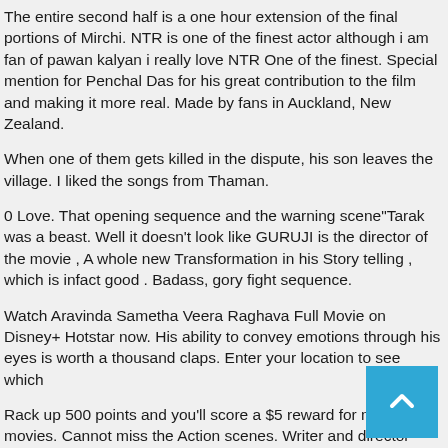The entire second half is a one hour extension of the final portions of Mirchi. NTR is one of the finest actor although i am fan of pawan kalyan i really love NTR One of the finest. Special mention for Penchal Das for his great contribution to the film and making it more real. Made by fans in Auckland, New Zealand.
When one of them gets killed in the dispute, his son leaves the village. I liked the songs from Thaman.
0 Love. That opening sequence and the warning scene"Tarak was a beast. Well it doesn't look like GURUJI is the director of the movie , A whole new Transformation in his Story telling , which is infact good . Badass, gory fight sequence.
Watch Aravinda Sametha Veera Raghava Full Movie on Disney+ Hotstar now. His ability to convey emotions through his eyes is worth a thousand claps. Enter your location to see which
Rack up 500 points and you'll score a $5 reward for more movies. Cannot miss the Action scenes. Writer and director Trivikram at his best. Right from the heart pounding opening sequence up until th conclusion, with each act he keeps taking the movie a er. The